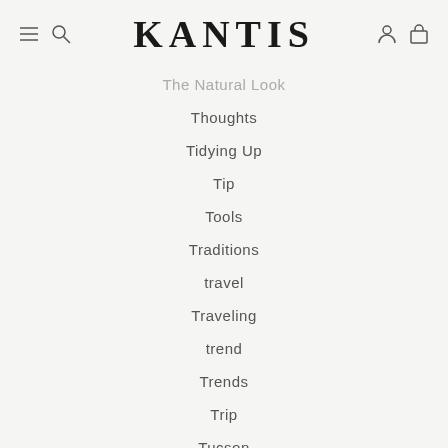KANTIS
The Natural Look
Thoughts
Tidying Up
Tip
Tools
Traditions
travel
Traveling
trend
Trends
Trip
Tucson
USA
vacation